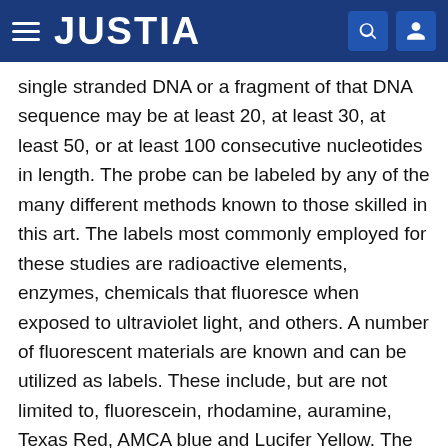JUSTIA
single stranded DNA or a fragment of that DNA sequence may be at least 20, at least 30, at least 50, or at least 100 consecutive nucleotides in length. The probe can be labeled by any of the many different methods known to those skilled in this art. The labels most commonly employed for these studies are radioactive elements, enzymes, chemicals that fluoresce when exposed to ultraviolet light, and others. A number of fluorescent materials are known and can be utilized as labels. These include, but are not limited to, fluorescein, rhodamine, auramine, Texas Red, AMCA blue and Lucifer Yellow. The radioactive label can be detected by any of the currently available counting procedures. Non-limiting examples of isotopes include 3H, 14C, 32P, 35S, 36Cl, 51Cr, 57Co, 58Co, 90Fe, 90Y, 125I, 131I, and 186Re. Enzyme labels are likewise useful, and can be detected by any of the presently utilized colorimetric